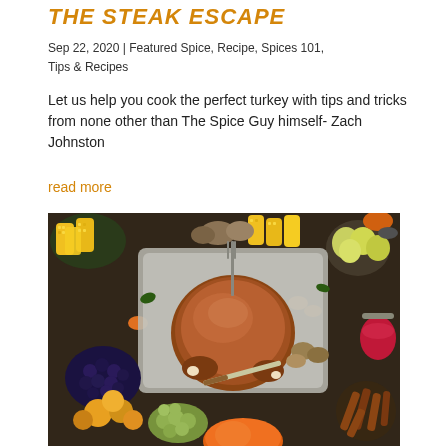THE STEAK ESCAPE
Sep 22, 2020 | Featured Spice, Recipe, Spices 101, Tips & Recipes
Let us help you cook the perfect turkey with tips and tricks from none other than The Spice Guy himself- Zach Johnston
read more
[Figure (photo): Overhead view of a roasted turkey in a baking pan surrounded by corn on the cob, vegetables, fruits, blueberries, grapes, pumpkin, cinnamon sticks, and cranberry sauce on a dark wooden table.]